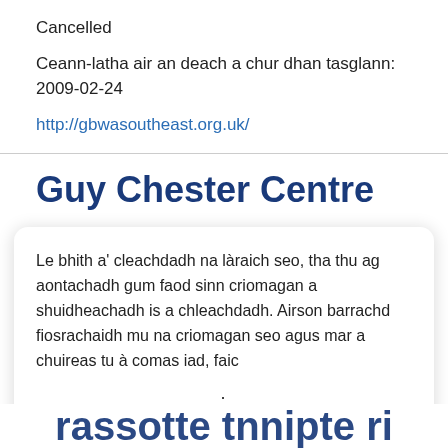Cancelled
Ceann-latha air an deach a chur dhan tasglann: 2009-02-24
http://gbwasoutheast.org.uk/
Guy Chester Centre
Le bhith a' cleachdadh na làraich seo, tha thu ag aontachadh gum faod sinn criomagan a shuidheachadh is a chleachdadh. Airson barrachd fiosrachaidh mu na criomagan seo agus mar a chuireas tu à comas iad, faic
Ceart ma-tha